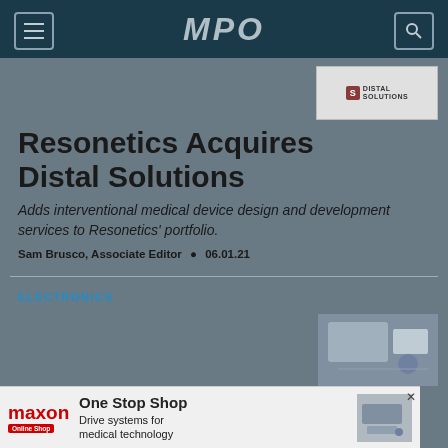MPO
[Figure (logo): Distal Solutions logo in top right corner]
Resonetics Acquires Distal Solutions
Adds interventional medical device design and development services to Resonetics' portfolio.
Sam Brusco, Associate Editor • 06.01.21
ELECTRONICS
[Figure (photo): Medical/electronics related photo thumbnail]
[Figure (infographic): Maxon advertisement banner: One Stop Shop, Drive systems for medical technology, Online Shop button]